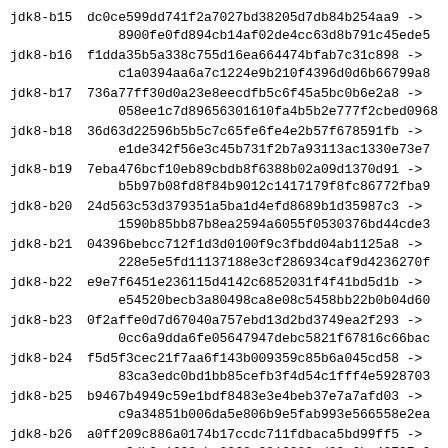| Build | Hash transition |
| --- | --- |
| jdk8-b15 | dc0ce599dd741f2a7027bd38205d7db84b254aa9 -> 8900fe0fd894cb14af02de4cc63d8b791c45ede5 |
| jdk8-b16 | f1dda35b5a338c755d16ea664474bfab7c31c898 -> c1a0394aa6a7c1224e9b210f4396d0d6b66799a8 |
| jdk8-b17 | 736a77ff30d0a23e8eecdfb5c6f45a5bc0b6e2a8 -> 058ee1c7d89656301610fa4b5b2e777f2cbed0968 |
| jdk8-b18 | 36d63d22596b5b5c7c65fe6fe4e2b57f678591fb -> e1de342f56e3c45b731f2b7a93113ac1330e73e7 |
| jdk8-b19 | 7eba476bcf10eb89cbdb8f6388b02a09d1370d91 -> b5b97b08fd8f84b9012c1417179f8fc86772fba9 |
| jdk8-b20 | 24d563c53d379351a5ba1d4efd8689b1d35987c3 -> 1590b85bb87b8ea2594a6055f0530376bd44cde3 |
| jdk8-b21 | 04396bebcc712f1d3d0100f9c3fbdd04ab1125a8 -> 228e5e5fd11137188e3cf286934caf9d4236270f |
| jdk8-b22 | e9e7f6451e236115d4142c6852031f4f41bd5d1b -> e54520becb3a80498ca8e08c5458bb22b0b04d60 |
| jdk8-b23 | 0f2affe0d7d67040a757ebd13d2bd3749ea2f293 -> 0cc6a9dda6fe05647947debc5821f67816c66bac |
| jdk8-b24 | f5d5f3cec21f7aa6f143b009359c85b6a045cd58 -> 83ca3edc0bd1bb85cefb3f4d54c1fff4e5928703 |
| jdk8-b25 | b9467b4949c59e1bdf8483e3e4beb37e7a7afd03 -> c9a34851b006da5e806b9e5fab993e566558e2ea |
| jdk8-b26 | a0ff209c886a0174b17ccdc711fdbaca5bd99ff5 -> a3db0e1600aba0268c2816380cd89c6ba43797c0 |
| jdk8-b27 | 6d090149192954ccfa797e626b1c49c86b4c3552 -> c0d7f825f41e1ac2f31cdd1941d58b7e4c3e5a26 |
| jdk8-b28 | 36ce326e16f2a039c93151e8016e233ea595aa2a -> 62b5d4df52d6bd43cac7ff1c54ab322980e5d9d3 |
| jdk8-b29 | 64a826a01003c78e99dcf2cb3ef6e8c0f94ae75b -> 817f23c52cf86510b41f5d212398365ffcf1edb0 |